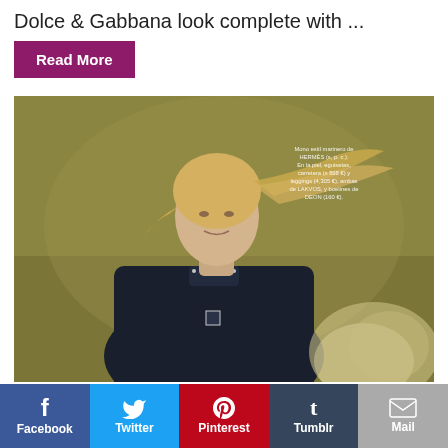Dolce & Gabbana look complete with ...
Read More
[Figure (photo): Fashion editorial photo of a blonde woman wearing a dark navy leather/studded collar jacket, hair blowing in the wind, against an olive/khaki background with a blurred floral element in the foreground. Small Spanish-language overlay text in upper right of photo.]
f Facebook
Twitter
Pinterest
t Tumblr
Mail